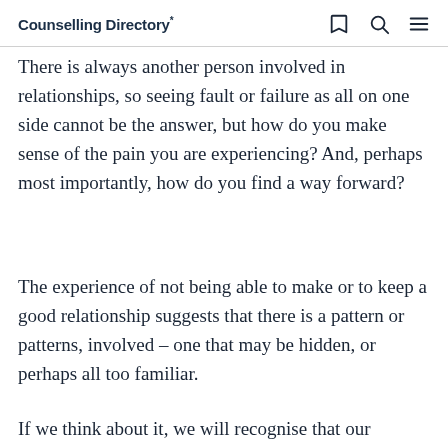Counselling Directory
There is always another person involved in relationships, so seeing fault or failure as all on one side cannot be the answer, but how do you make sense of the pain you are experiencing? And, perhaps most importantly, how do you find a way forward?
The experience of not being able to make or to keep a good relationship suggests that there is a pattern or patterns, involved – one that may be hidden, or perhaps all too familiar.
If we think about it, we will recognise that our families often share physical traits, like height